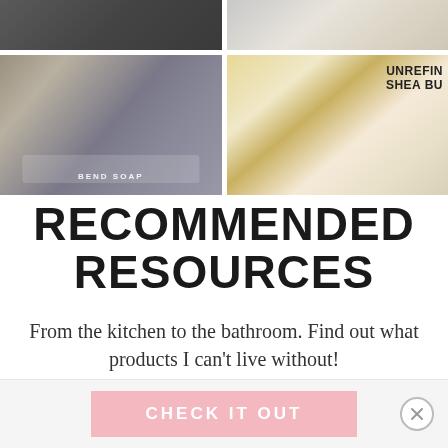[Figure (photo): 2x2 grid of product photos: top-left dark/kitchen scene, top-right white powder in bowl, bottom-left Bend Soap company soap bars with packaging, bottom-right shea butter product with wooden spoon and bowl]
RECOMMENDED RESOURCES
From the kitchen to the bathroom. Find out what products I can't live without!
CHECK IT OUT